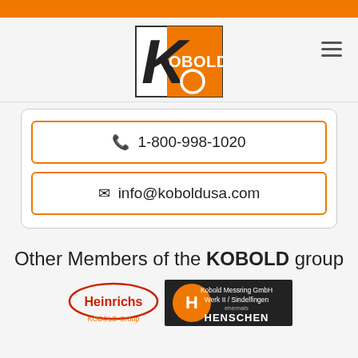[Figure (logo): KOBOLD brand logo - orange square with white K and orange circle]
☎ 1-800-998-1020
✉ info@koboldusa.com
Other Members of the KOBOLD group
[Figure (logo): Heinrichs KOBOLD Group logo - red oval with Heinrichs text]
[Figure (logo): Kobold Messring GmbH Werk II / Sindelfingen ehemals HENSCHEN logo]